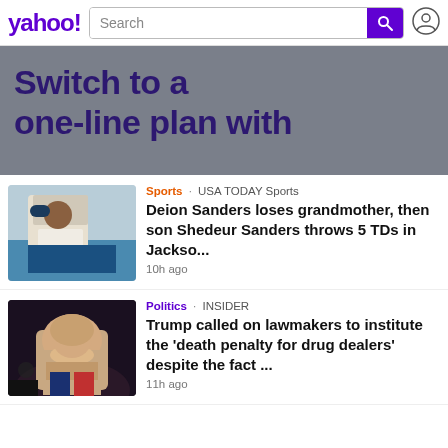yahoo! Search
[Figure (screenshot): Yahoo advertisement banner: 'Switch to a one-line plan with' in dark purple bold text on gray background]
[Figure (photo): Deion Sanders smiling wearing a white hoodie and blue cap at a sports event]
Sports · USA TODAY Sports
Deion Sanders loses grandmother, then son Shedeur Sanders throws 5 TDs in Jackso...
10h ago
[Figure (photo): Donald Trump speaking at a political rally, close-up portrait]
Politics · INSIDER
Trump called on lawmakers to institute the 'death penalty for drug dealers' despite the fact ...
11h ago